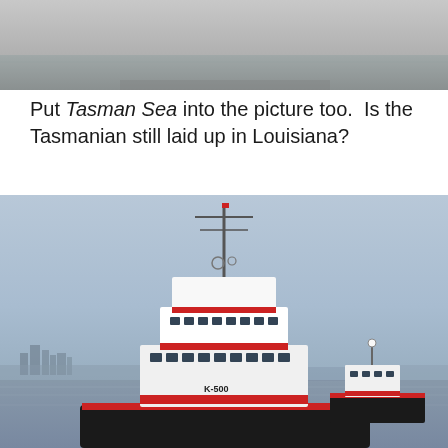[Figure (photo): Partial view of a vessel on water, showing the upper portion of a ship or boat hull near the waterline against a grey hazy background.]
Put Tasman Sea into the picture too.  Is the Tasmanian still laid up in Louisiana?
[Figure (photo): A large white and red tugboat with the identifier K-500 on its hull, photographed from the front in a harbour. The vessel has a tall superstructure with multiple decks, radar masts, and red accent bands. A smaller tugboat is visible in the background to the right, with a city skyline faintly visible on the left horizon.]